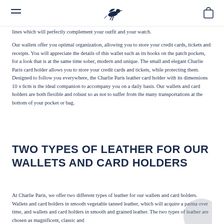[Navigation header with menu icon, bird logo, and bag icon]
lines which will perfectly complement your outfit and your watch.
Our wallets offer you optimal organization, allowing you to store your credit cards, tickets and receipts. You will appreciate the details of this wallet such as its hooks on the patch pockets, for a look that is at the same time sober, modern and unique. The small and elegant Charlie Paris card holder allows you to store your credit cards and tickets, while protecting them. Designed to follow you everywhere, the Charlie Paris leather card holder with its dimensions 10 x 6cm is the ideal companion to accompany you on a daily basis. Our wallets and card holders are both flexible and robust so as not to suffer from the many transportations at the bottom of your pocket or bag.
TWO TYPES OF LEATHER FOR OUR WALLETS AND CARD HOLDERS
At Charlie Paris, we offer two different types of leather for our wallets and card holders. Wallets and card holders in smooth vegetable tanned leather, which will acquire a patina over time, and wallets and card holders in smooth and grained leather. The two types of leather are chosen as magnificent, classic and...